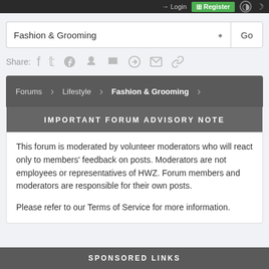→ Login  ⊞ Register
Fashion & Grooming    Go
Share:  f  🐦  reddit  pinterest  tumblr  whatsapp  email  link
Forums  >  Lifestyle  >  Fashion & Grooming
IMPORTANT FORUM ADVISORY NOTE
This forum is moderated by volunteer moderators who will react only to members' feedback on posts. Moderators are not employees or representatives of HWZ. Forum members and moderators are responsible for their own posts.

Please refer to our Terms of Service for more information.
SPONSORED LINKS